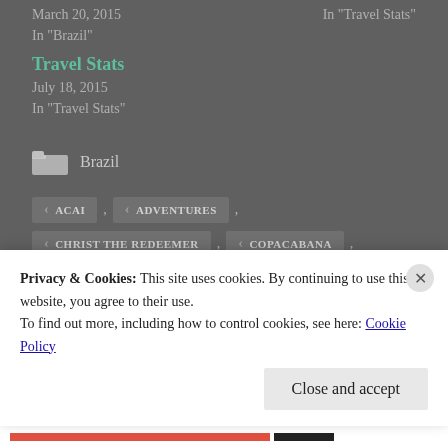March 20, 2015
In "Brazil"
In "Travel Stats"
Travel Stats
July 18, 2015
In "Travel Stats"
Brazil
ACAI
ADVENTURES
CHRIST THE REDEEMER
COPACABANA
Privacy & Cookies: This site uses cookies. By continuing to use this website, you agree to their use.
To find out more, including how to control cookies, see here: Cookie Policy
Close and accept